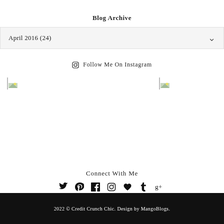Blog Archive
April 2016 (24)
Follow Me On Instagram
[Figure (photo): Three broken/placeholder images in a row representing Instagram photos]
Connect With Me
[Figure (infographic): Social media icons row: Twitter, Pinterest, Facebook, Instagram, Heart, Tumblr, Google+]
2022 © Credit Crunch Chic. Design by MangoBlogs.